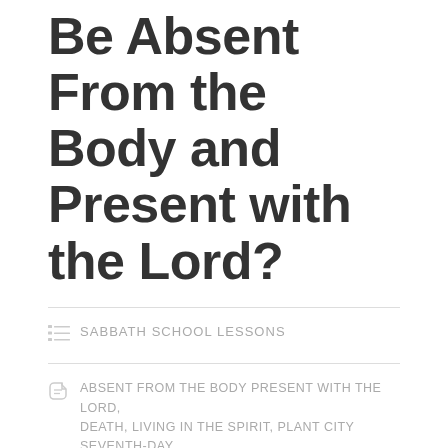Be Absent From the Body and Present with the Lord?
SABBATH SCHOOL LESSONS
ABSENT FROM THE BODY PRESENT WITH THE LORD, DEATH, LIVING IN THE SPIRIT, PLANT CITY SEVENTH-DAY ADVENTIST CHURCH, TAMPA FIRST SEVENTH-DAY ADVENTIST CHURCH, WHAT HAPPENS WHEN YOU DIE
LEAVE A COMMENT